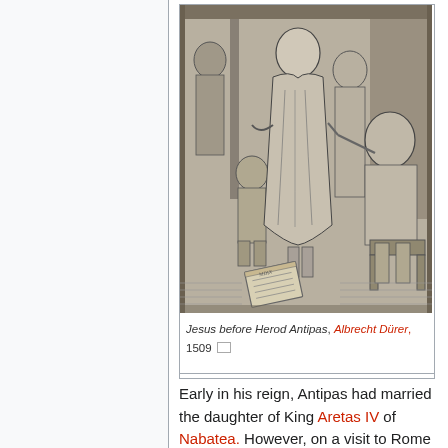[Figure (illustration): Woodcut print depicting Jesus before Herod Antipas, by Albrecht Dürer, 1509. Shows robed figures in an architectural interior setting.]
Jesus before Herod Antipas, Albrecht Dürer, 1509
Early in his reign, Antipas had married the daughter of King Aretas IV of Nabatea. However, on a visit to Rome he